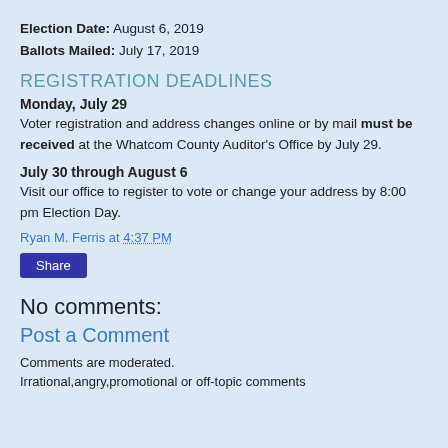Election Date: August 6, 2019
Ballots Mailed: July 17, 2019
REGISTRATION DEADLINES
Monday, July 29
Voter registration and address changes online or by mail must be received at the Whatcom County Auditor's Office by July 29.
July 30 through August 6
Visit our office to register to vote or change your address by 8:00 pm Election Day.
Ryan M. Ferris at 4:37 PM
Share
No comments:
Post a Comment
Comments are moderated.
Irrational,angry,promotional or off-topic comments